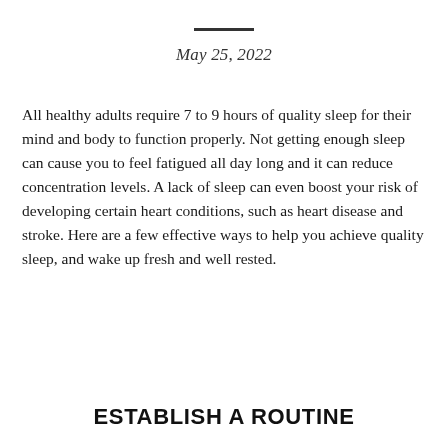May 25, 2022
All healthy adults require 7 to 9 hours of quality sleep for their mind and body to function properly. Not getting enough sleep can cause you to feel fatigued all day long and it can reduce concentration levels. A lack of sleep can even boost your risk of developing certain heart conditions, such as heart disease and stroke. Here are a few effective ways to help you achieve quality sleep, and wake up fresh and well rested.
ESTABLISH A ROUTINE